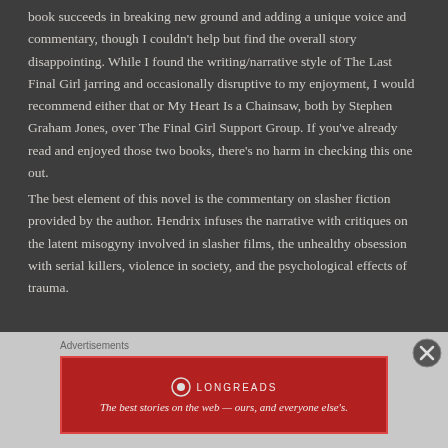book succeeds in breaking new ground and adding a unique voice and commentary, though I couldn't help but find the overall story disappointing. While I found the writing/narrative style of The Last Final Girl jarring and occasionally disruptive to my enjoyment, I would recommend either that or My Heart Is a Chainsaw, both by Stephen Graham Jones, over The Final Girl Support Group. If you've already read and enjoyed those two books, there's no harm in checking this one out.
The best element of this novel is the commentary on slasher fiction provided by the author. Hendrix infuses the narrative with critiques on the latent misogyny involved in slasher films, the unhealthy obsession with serial killers, violence in society, and the psychological effects of trauma.
Advertisements
[Figure (logo): Longreads advertisement banner: red background with Longreads logo and tagline 'The best stories on the web — ours, and everyone else's.']